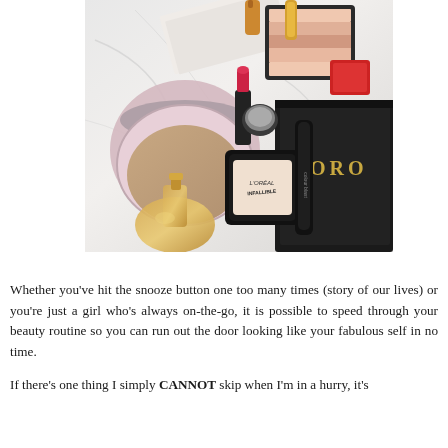[Figure (photo): Flat lay photo of various makeup and beauty products arranged on a marble surface, including a cushion foundation compact, a highlighter palette, lipstick, mascara, a fragrance bottle, and a black bag with 'ORO' text visible.]
Whether you've hit the snooze button one too many times (story of our lives) or you're just a girl who's always on-the-go, it is possible to speed through your beauty routine so you can run out the door looking like your fabulous self in no time.
If there's one thing I simply CANNOT skip when I'm in a hurry, it's